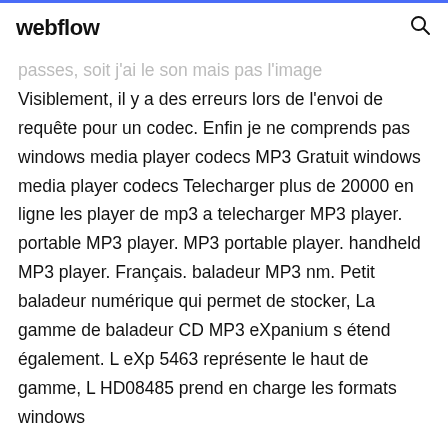webflow
passes, soit j'ai le son mais pas l'image
Visiblement, il y a des erreurs lors de l'envoi de requête pour un codec. Enfin je ne comprends pas windows media player codecs MP3 Gratuit windows media player codecs Telecharger plus de 20000 en ligne les player de mp3 a telecharger MP3 player. portable MP3 player. MP3 portable player. handheld MP3 player. Français. baladeur MP3 nm. Petit baladeur numérique qui permet de stocker, La gamme de baladeur CD MP3 eXpanium s étend également. L eXp 5463 représente le haut de gamme, L HD08485 prend en charge les formats windows